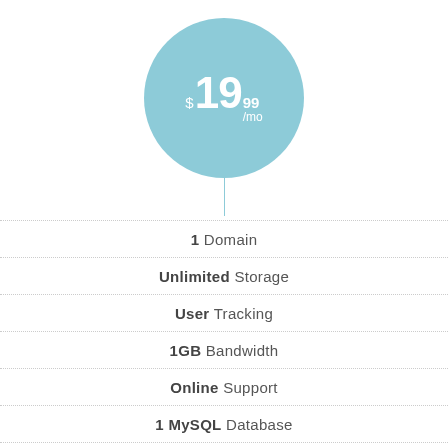[Figure (infographic): A light blue circle with white text showing the price $19.99/mo, with a vertical stem line below it connecting to the features list.]
1 Domain
Unlimited Storage
User Tracking
1GB Bandwidth
Online Support
1 MySQL Database
No Transactional Fees